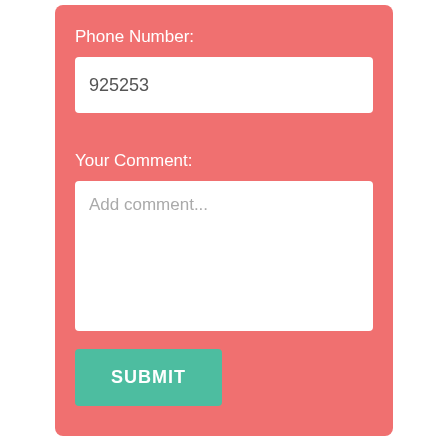Phone Number:
925253
Your Comment:
Add comment...
SUBMIT